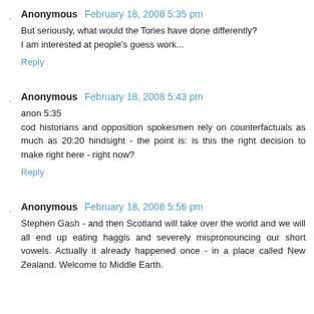Anonymous February 18, 2008 5:35 pm
But seriously, what would the Tories have done differently? I am interested at people's guess work...
Reply
Anonymous February 18, 2008 5:43 pm
anon 5:35
cod historians and opposition spokesmen rely on counterfactuals as much as 20:20 hindsight - the point is: is this the right decision to make right here - right now?
Reply
Anonymous February 18, 2008 5:56 pm
Stephen Gash - and then Scotland will take over the world and we will all end up eating haggis and severely mispronouncing our short vowels. Actually it already happened once - in a place called New Zealand. Welcome to Middle Earth.